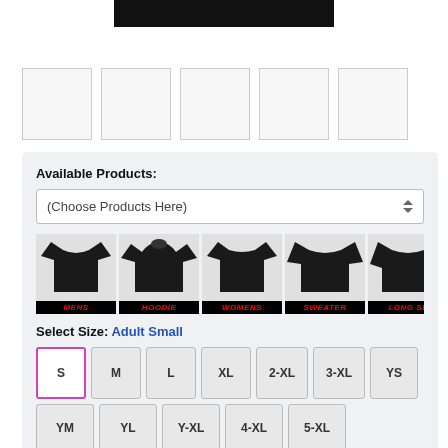[Figure (photo): Black t-shirt partial image at top of page]
[Figure (photo): Row of 5 small product thumbnail image boxes]
Available Products:
(Choose Products Here)
[Figure (illustration): Row of product type icons: MENS t-shirt, HOODIE, WOMENS t-shirt, SWEATER, LONG SL(eeve)]
Select Size: Adult Small
S M L XL 2-XL 3-XL YS
YM YL Y-XL 4-XL 5-XL